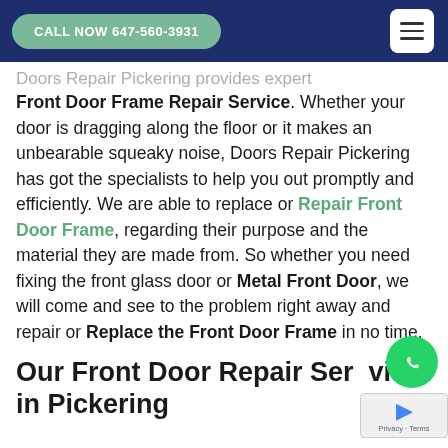CALL NOW 647-560-3931
Doors Repair Pickering provides expert Front Door Frame Repair Service. Whether your door is dragging along the floor or it makes an unbearable squeaky noise, Doors Repair Pickering has got the specialists to help you out promptly and efficiently. We are able to replace or Repair Front Door Frame, regarding their purpose and the material they are made from. So whether you need fixing the front glass door or Metal Front Door, we will come and see to the problem right away and repair or Replace the Front Door Frame in no time.
Our Front Door Repair Service in Pickering